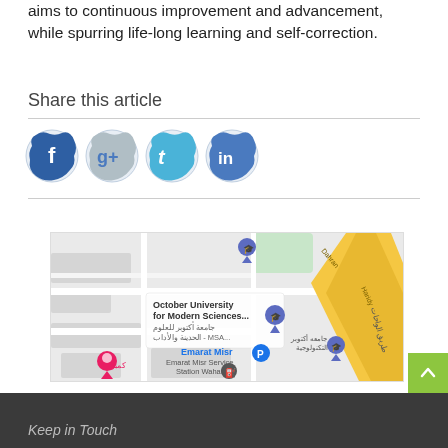aims to continuous improvement and advancement, while spurring life-long learning and self-correction.
Share this article
[Figure (other): Social media sharing icons: Facebook (dark blue), Google+ (grey/blue), Twitter (light blue), LinkedIn (blue), displayed in a row with splatter-style backgrounds]
[Figure (map): Google Maps screenshot showing October University for Modern Sciences (MSA), Emarat Misr area, with Arabic street labels including Tariq Al-Wahat road (yellow diagonal road), parking icon, fuel station icon, and location pins.]
Keep in Touch